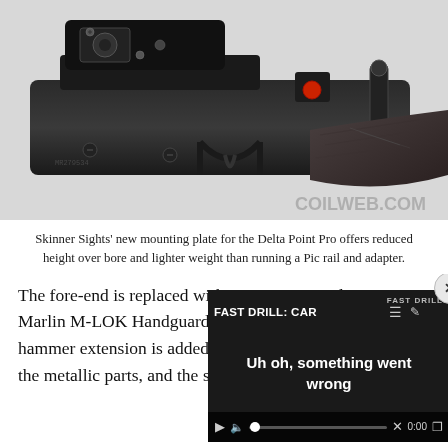[Figure (photo): Close-up photo of a rifle receiver with a red dot optic (Delta Point Pro) mounted via Skinner Sights mounting plate, showing the action, trigger guard, hammer, and stock. Watermark 'COILWEB.COM' visible in lower right.]
Skinner Sights' new mounting plate for the Delta Point Pro offers reduced height over bore and lighter weight than running a Pic rail and adapter.
The fore-end is replaced w[ith a Mesa Tactical] Marlin M-LOK Handguard[, a large-loop] hammer extension is adde[d, Cerakote covers] the metallic parts, and the [...]
[Figure (screenshot): Embedded video player overlay showing 'FAST DRILL: CAR' title with menu and edit icons, error message 'Uh oh, something went wrong', muted speaker icon, progress bar with dot, X button, 0:00 timestamp, and fullscreen icon. Close button (x) in top right corner.]